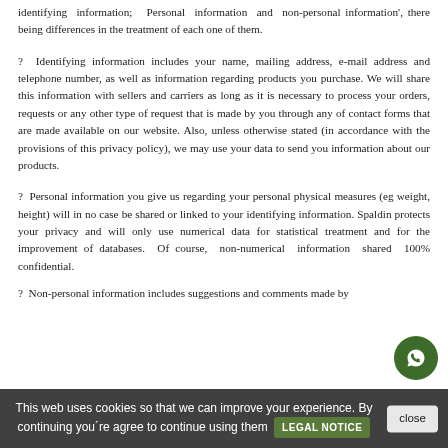identifying information;  Personal information and non-personal information', there being differences in the treatment of each one of them.
?  Identifying information includes your name, mailing address, e-mail address and telephone number, as well as information regarding products you purchase. We will share this information with sellers and carriers as long as it is necessary to process your orders, requests or any other type of request that is made by you through any of contact forms that are made available on our website. Also, unless otherwise stated (in accordance with the provisions of this privacy policy), we may use your data to send you information about our products.
?  Personal information you give us regarding your personal physical measures (eg weight, height) will in no case be shared or linked to your identifying information. Spaldin protects your privacy and will only use numerical data for statistical treatment and for the improvement of databases.  Of course, non-numerical information shared 100% confidential.
?  Non-personal information includes suggestions and comments made by